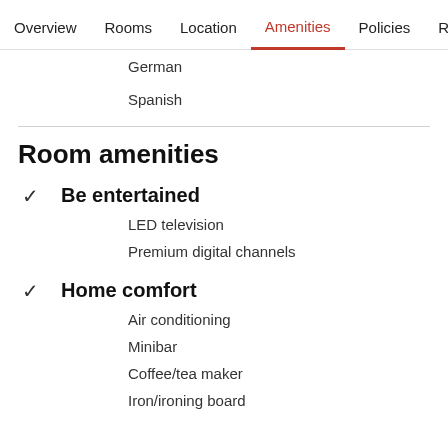Overview  Rooms  Location  Amenities  Policies  Reviews
German
Spanish
Room amenities
✓ Be entertained
LED television
Premium digital channels
✓ Home comfort
Air conditioning
Minibar
Coffee/tea maker
Iron/ironing board